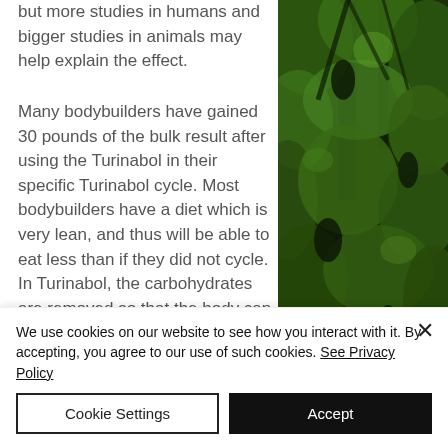but more studies in humans and bigger studies in animals may help explain the effect.
Many bodybuilders have gained 30 pounds of the bulk result after using the Turinabol in their specific Turinabol cycle. Most bodybuilders have a diet which is very lean, and thus will be able to eat less than if they did not cycle. In Turinabol, the carbohydrates are removed so that the body can absorb more protein and essential nutrients. This can result in the body needing to store some fat from the cycle, or lose a little body fat.
[Figure (photo): Close-up photo of green leaves and branches in a forest or jungle setting, with dark shadows between the foliage.]
We use cookies on our website to see how you interact with it. By accepting, you agree to our use of such cookies. See Privacy Policy
Cookie Settings
Accept